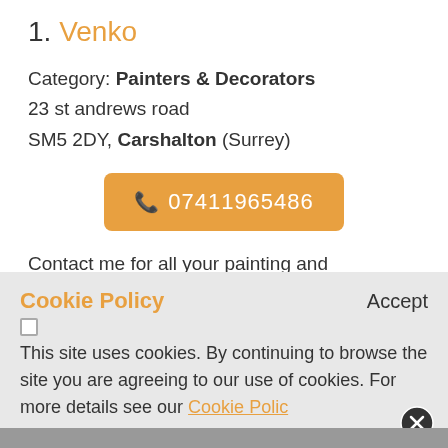1. Venko
Category: Painters & Decorators
23 st andrews road
SM5 2DY, Carshalton (Surrey)
07411965486
Contact me for all your painting and decorating needs! no job too big or small, huge discounts still available throughout feb!
Excellent quality...
Cookie Policy
This site uses cookies. By continuing to browse the site you are agreeing to our use of cookies. For more details see our Cookie Polic...